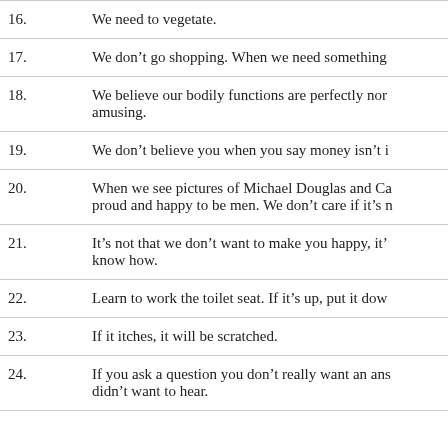16. We need to vegetate.
17. We don't go shopping. When we need something
18. We believe our bodily functions are perfectly nor amusing.
19. We don't believe you when you say money isn't i
20. When we see pictures of Michael Douglas and Ca proud and happy to be men. We don't care if it's n
21. It's not that we don't want to make you happy, it' know how.
22. Learn to work the toilet seat. If it's up, put it dow
23. If it itches, it will be scratched.
24. If you ask a question you don't really want an ans didn't want to hear.